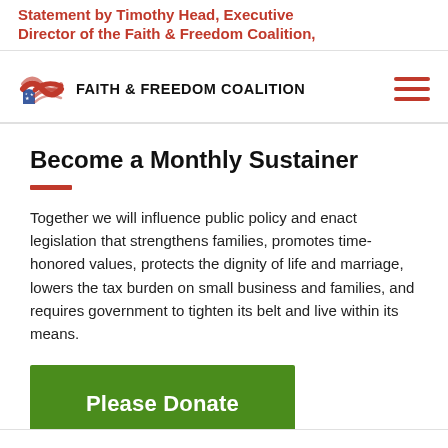Statement by Timothy Head, Executive Director of the Faith & Freedom Coalition,
[Figure (logo): Faith & Freedom Coalition logo with flag emblem and text 'FAITH & FREEDOM COALITION']
Become a Monthly Sustainer
Together we will influence public policy and enact legislation that strengthens families, promotes time-honored values, protects the dignity of life and marriage, lowers the tax burden on small business and families, and requires government to tighten its belt and live within its means.
Please Donate